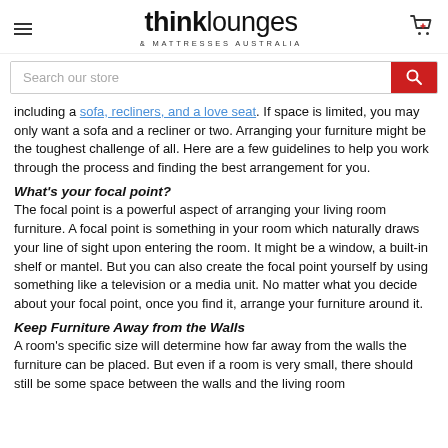thinklounges & MATTRESSES AUSTRALIA
including a sofa, recliners, and a love seat. If space is limited, you may only want a sofa and a recliner or two. Arranging your furniture might be the toughest challenge of all. Here are a few guidelines to help you work through the process and finding the best arrangement for you.
What's your focal point?
The focal point is a powerful aspect of arranging your living room furniture. A focal point is something in your room which naturally draws your line of sight upon entering the room. It might be a window, a built-in shelf or mantel. But you can also create the focal point yourself by using something like a television or a media unit. No matter what you decide about your focal point, once you find it, arrange your furniture around it.
Keep Furniture Away from the Walls
A room's specific size will determine how far away from the walls the furniture can be placed. But even if a room is very small, there should still be some space between the walls and the living room